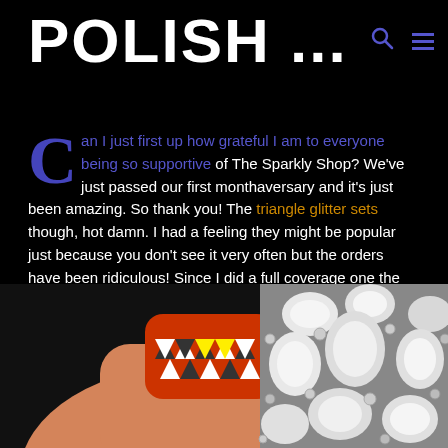POLISH ...
Can I just first up how grateful I am to everyone being so supportive of The Sparkly Shop?  We've just passed our first monthaversary and it's just been amazing.  So thank you!  The triangle glitter sets though, hot damn.  I had a feeling they might be popular just because you don't see it very often but the orders have been ridiculous!  Since I did a full coverage one the other day, I thought I'd show you something you can do with it that doesn't take quite as much time.
[Figure (photo): Close-up photo of a hand with a nail painted in an orange/red color decorated with small triangle glitter pieces in black, white, and yellow geometric pattern. Next to the nail are large pearl/crystal rhinestone embellishments on a silver background.]